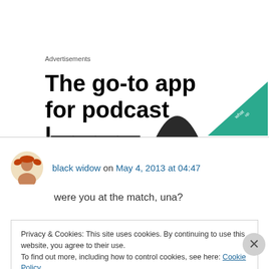Advertisements
[Figure (screenshot): Advertisement banner showing text 'The go-to app for podcast l...' with a green triangular graphic and a dark shark-fin shape]
black widow on May 4, 2013 at 04:47
were you at the match, una?
Privacy & Cookies: This site uses cookies. By continuing to use this website, you agree to their use. To find out more, including how to control cookies, see here: Cookie Policy
Close and accept